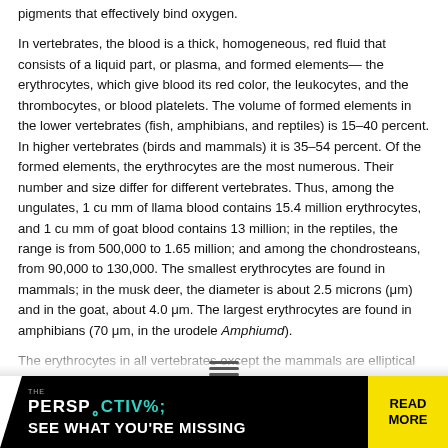pigments that effectively bind oxygen.
In vertebrates, the blood is a thick, homogeneous, red fluid that consists of a liquid part, or plasma, and formed elements— the erythrocytes, which give blood its red color, the leukocytes, and the thrombocytes, or blood platelets. The volume of formed elements in the lower vertebrates (fish, amphibians, and reptiles) is 15–40 percent. In higher vertebrates (birds and mammals) it is 35–54 percent. Of the formed elements, the erythrocytes are the most numerous. Their number and size differ for different vertebrates. Thus, among the ungulates, 1 cu mm of llama blood contains 15.4 million erythrocytes, and 1 cu mm of goat blood contains 13 million; in the reptiles, the range is from 500,000 to 1.65 million; and among the chondrosteans, from 90,000 to 130,000. The smallest erythrocytes are found in mammals; in the musk deer, the diameter is about 2.5 microns (μm) and in the goat, about 4.0 μm. The largest erythrocytes are found in amphibians (70 μm, in the urodele Amphiumd).
The erythrocytes in all vertebrates except the mammals are elliptical and have a nucleus. In mammals the erythrocytes are nonnucleated and are shaped like biconcave disks (with the exception of the camel, in which the erythrocytes are oval and lentiform... increasing the number of erythrocytes
[Figure (screenshot): Advertisement banner: 'THE PERSPECTIVE — SEE WHAT YOU'RE MISSING' with READ MORE button in yellow]